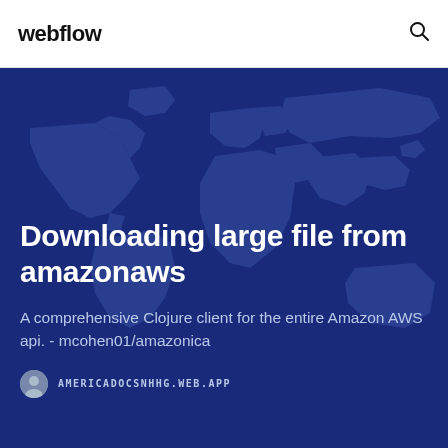webflow
Downloading large file from amazonaws
A comprehensive Clojure client for the entire Amazon AWS api. - mcohen01/amazonica
AMERICADOCSNHHG.WEB.APP